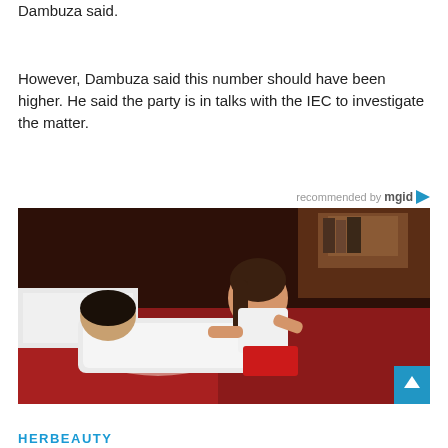Dambuza said.
However, Dambuza said this number should have been higher. He said the party is in talks with the IEC to investigate the matter.
[Figure (photo): A man lying on a bed with a woman leaning over him, both looking at each other. The man wears a white shirt, the woman wears a white top and red skirt. A 'recommended by mgid' label appears above the photo.]
HERBEAUTY